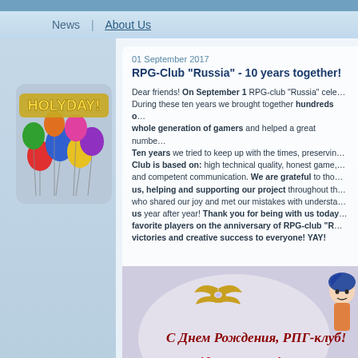News | About Us
[Figure (illustration): Holiday balloons image with 'HOLYDAY!' text overlay]
01 September 2017
RPG-Club "Russia" - 10 years together!
Dear friends! On September 1 RPG-club "Russia" celebrated its 10th anniversary. During these ten years we brought together hundreds of gamers, grew up a whole generation of gamers and helped a great number of people. Ten years we tried to keep up with the times, preserving the principles our Club is based on: high technical quality, honest game, friendly atmosphere and competent communication. We are grateful to those who stayed with us, helping and supporting our project throughout the years, to those who shared our joy and met our mistakes with understanding, who chose us year after year! Thank you for being with us today and congratulate our favorite players on the anniversary of RPG-club "Russia"! We wish victories and creative success to everyone! YAY!
[Figure (illustration): Anniversary celebration artwork with Russian text 'С Днем Рождения, РПГ-клуб! 10 лет с вами!' and cartoon character]